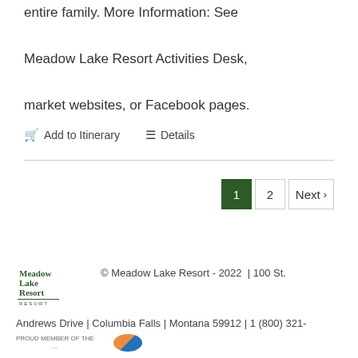entire family. More Information: See Meadow Lake Resort Activities Desk, market websites, or Facebook pages.
🛒 Add to Itinerary   ☰ Details
1  2  Next ›
© Meadow Lake Resort - 2022 | 100 St. Andrews Drive | Columbia Falls | Montana 59912 | 1 (800) 321-